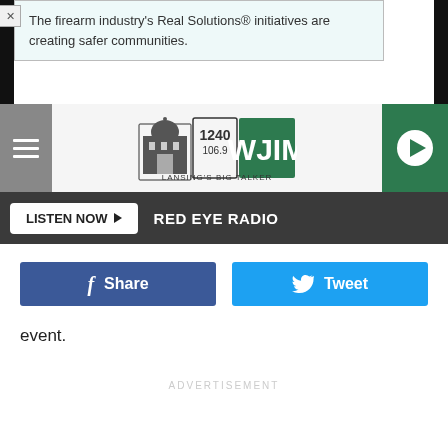[Figure (screenshot): Advertisement banner: 'The firearm industry's Real Solutions® initiatives are creating safer communities.' with close button]
[Figure (logo): WJIM 1240 / 106.9 Lansing's Big Talker radio station logo with hamburger menu and play button]
LISTEN NOW ▶   RED EYE RADIO
[Figure (screenshot): Facebook Share button and Twitter Tweet button]
event.
ADVERTISEMENT